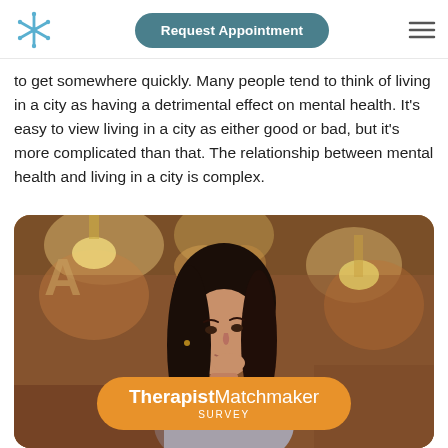Request Appointment
to get somewhere quickly. Many people tend to think of living in a city as having a detrimental effect on mental health. It's easy to view living in a city as either good or bad, but it's more complicated than that. The relationship between mental health and living in a city is complex.
[Figure (photo): A young woman with long dark hair sitting in a cafe, looking upward thoughtfully with her hand near her mouth. Warm bokeh background with pendant lights.]
TherapistMatchmaker SURVEY